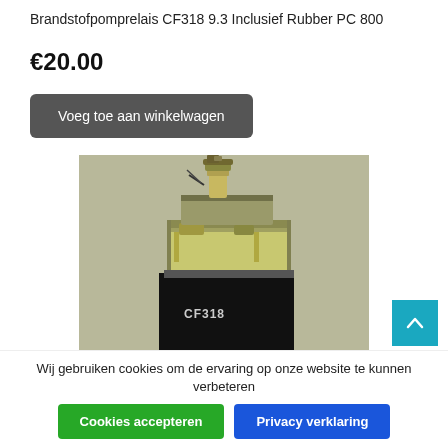Brandstofpomprelais CF318 9.3 Inclusief Rubber PC 800
€20.00
Voeg toe aan winkelwagen
[Figure (photo): Close-up photo of a fuel pump relay component labeled CF318, showing a weathered/corroded yellow-green casing with metal contacts on top, against a black cylindrical body.]
Wij gebruiken cookies om de ervaring op onze website te kunnen verbeteren
Cookies accepteren
Privacy verklaring